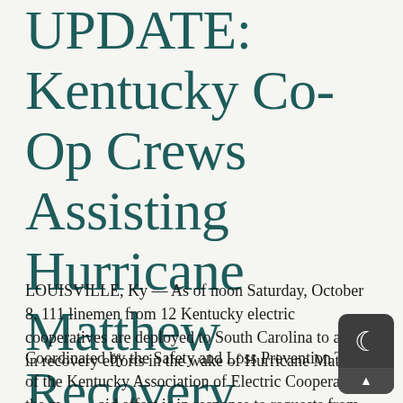UPDATE: Kentucky Co-Op Crews Assisting Hurricane Matthew Recovery
LOUISVILLE, Ky — As of noon Saturday, October 8, 111 linemen from 12 Kentucky electric cooperatives are deployed to South Carolina to assist in recovery efforts in the wake of Hurricane Matthew.
Coordinated by the Safety and Loss Prevention Team of the Kentucky Association of Electric Cooperatives, the mutual aid effort is in response to requests from affected electric cooperatives in the affected communities.